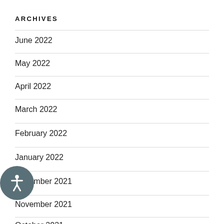ARCHIVES
June 2022
May 2022
April 2022
March 2022
February 2022
January 2022
December 2021
November 2021
October 2021